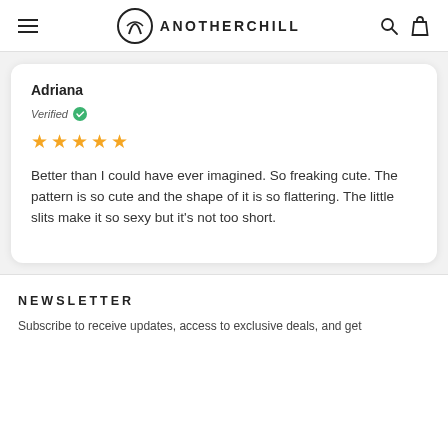ANOTHERCHILL
Adriana
Verified
★★★★★
Better than I could have ever imagined. So freaking cute. The pattern is so cute and the shape of it is so flattering. The little slits make it so sexy but it's not too short.
NEWSLETTER
Subscribe to receive updates, access to exclusive deals, and get